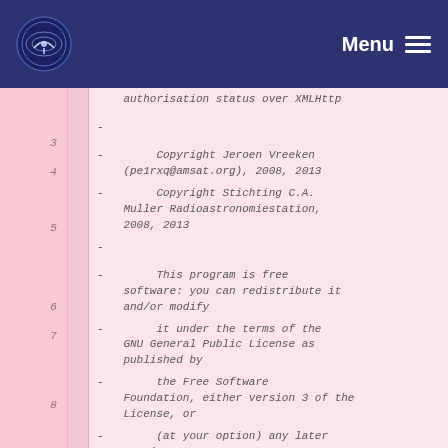Menu
authorisation status over XMLHttp
3  -
4  -        Copyright Jeroen Vreeken (pe1rxq@amsat.org), 2008, 2013
5  -        Copyright Stichting C.A. Muller Radioastronomiestation, 2008, 2013
6  -
7  -        This program is free software: you can redistribute it and/or modify
8  -        it under the terms of the GNU General Public License as published by
9  -        the Free Software Foundation, either version 3 of the License, or
10 -        (at your option) any later version.
11 -